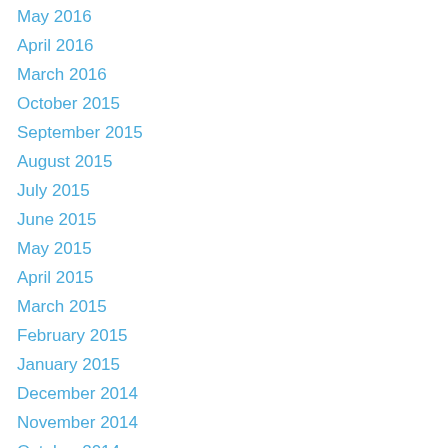May 2016
April 2016
March 2016
October 2015
September 2015
August 2015
July 2015
June 2015
May 2015
April 2015
March 2015
February 2015
January 2015
December 2014
November 2014
October 2014
September 2014
August 2014
July 2014
June 2014